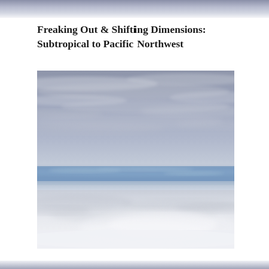Freaking Out & Shifting Dimensions: Subtropical to Pacific Northwest
[Figure (photo): Aerial photograph taken from high altitude showing layered sky and clouds. Upper portion shows grey-blue cirrus clouds against a pale sky. A thin band of vivid blue sky is visible in the middle. The lower portion shows a broad expanse of white low-level clouds or fog layer below the aircraft.]